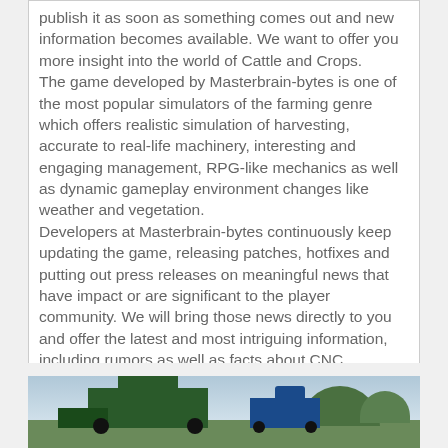publish it as soon as something comes out and new information becomes available. We want to offer you more insight into the world of Cattle and Crops. The game developed by Masterbrain-bytes is one of the most popular simulators of the farming genre which offers realistic simulation of harvesting, accurate to real-life machinery, interesting and engaging management, RPG-like mechanics as well as dynamic gameplay environment changes like weather and vegetation. Developers at Masterbrain-bytes continuously keep updating the game, releasing patches, hotfixes and putting out press releases on meaningful news that have impact or are significant to the player community. We will bring those news directly to you and offer the latest and most intriguing information, including rumors as well as facts about CNC. If you are an active player of Cattle and Crops, you should check out the Cattle and Crops mods that we have here. There are literally hundreds if not thousands of unique modifications that you can download completely free from our site. Check out the CNC mods categories to find out more!
[Figure (photo): A photograph showing farm machinery including a combine harvester and tractor in a field with trees in the background — from the Cattle and Crops game.]